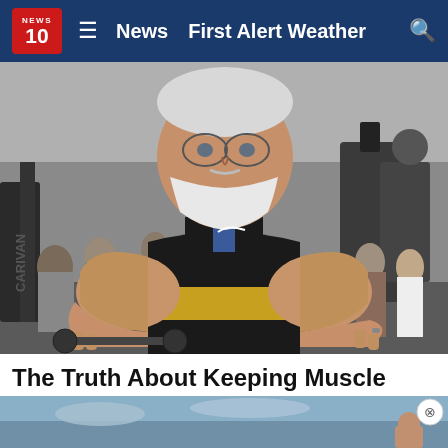NEWS 10 | News | First Alert Weather
[Figure (photo): Older muscular man with white beard flexing arms in a gym, wearing a black sleeveless Nike shirt and gold weight belt, gym equipment visible in background]
The Truth About Keeping Muscle Mass After Age 50
advancedbionutritionals.com | Sponsored
[Figure (photo): Partial view of outdoor landscape/seascape with close button overlay]